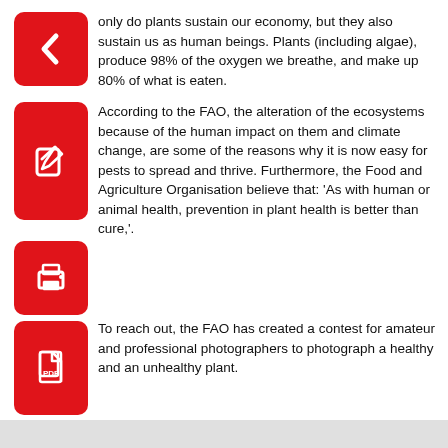only do plants sustain our economy, but they also sustain us as human beings. Plants (including algae), produce 98% of the oxygen we breathe, and make up 80% of what is eaten.
According to the FAO, the alteration of the ecosystems because of the human impact on them and climate change, are some of the reasons why it is now easy for pests to spread and thrive. Furthermore, the Food and Agriculture Organisation believe that: ‘As with human or animal health, prevention in plant health is better than cure,’.
To reach out, the FAO has created a contest for amateur and professional photographers to photograph a healthy and an unhealthy plant.
Plant health is an interesting and important topic for everyone. For example, I can’t even keep a plant alive. My family can keep exotic plants, orchids, and other very delicate plants, while I killed 3 cacti!